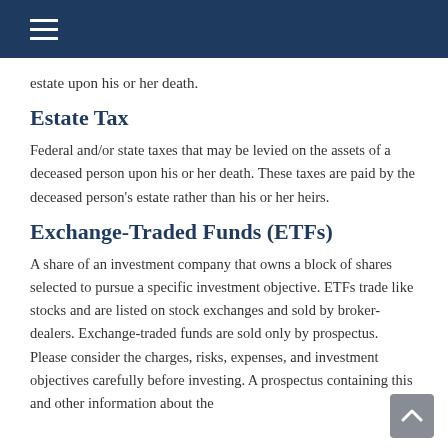estate upon his or her death.
Estate Tax
Federal and/or state taxes that may be levied on the assets of a deceased person upon his or her death. These taxes are paid by the deceased person’s estate rather than his or her heirs.
Exchange-Traded Funds (ETFs)
A share of an investment company that owns a block of shares selected to pursue a specific investment objective. ETFs trade like stocks and are listed on stock exchanges and sold by broker-dealers. Exchange-traded funds are sold only by prospectus. Please consider the charges, risks, expenses, and investment objectives carefully before investing. A prospectus containing this and other information about the